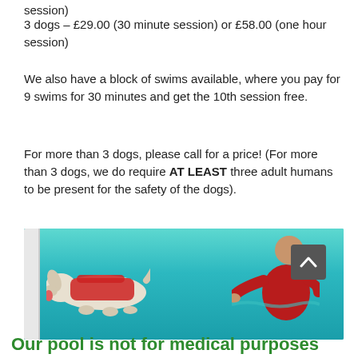session)
3 dogs – £29.00 (30 minute session) or £58.00 (one hour session)
We also have a block of swims available, where you pay for 9 swims for 30 minutes and get the 10th session free.
For more than 3 dogs, please call for a price! (For more than 3 dogs, we do require AT LEAST three adult humans to be present for the safety of the dogs).
[Figure (photo): A white dog wearing a red life jacket swimming in a turquoise pool, with a person in a red wetsuit reaching toward the dog from behind.]
Our pool is not for medical purposes